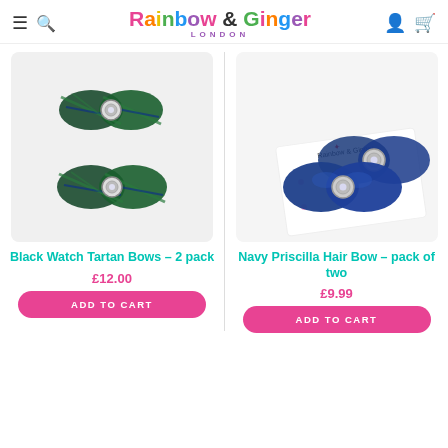Rainbow & Ginger LONDON
[Figure (photo): Two pairs of Black Watch Tartan hair bows with jewelled centres, green and navy tartan fabric]
Black Watch Tartan Bows – 2 pack
£12.00
ADD TO CART
[Figure (photo): Two navy blue satin hair bows with silver ring centres, displayed on a branded card backing]
Navy Priscilla Hair Bow – pack of two
£9.99
ADD TO CART